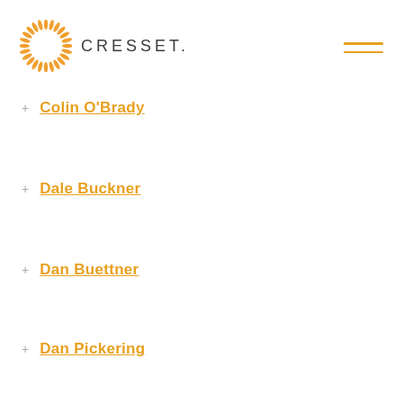[Figure (logo): Cresset logo: sunburst/starburst orange circular icon followed by CRESSET text in dark gray with letter-spacing]
+ Colin O'Brady
+ Dale Buckner
+ Dan Buettner
+ Dan Pickering